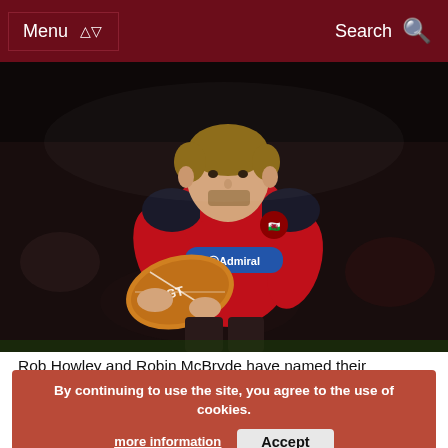Menu    Search
[Figure (photo): Wales rugby player in red Admiral-sponsored jersey running with ball during a night match]
Rob Howley and Robin McBryde have named their respective Probables and Possibles sides for Friday night's Wales Senior Trial ahead of their tour to South Africa.
By continuing to use the site, you agree to the use of cookies. more information   Accept
The first national trial in more than a decade will see the two sides battle it out at the Liberty Stadium, in Swansea as they try impress